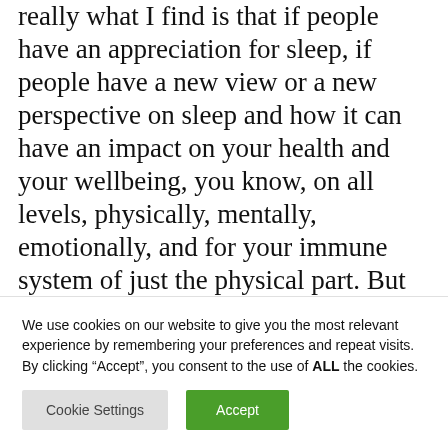really what I find is that if people have an appreciation for sleep, if people have a new view or a new perspective on sleep and how it can have an impact on your health and your wellbeing, you know, on all levels, physically, mentally, emotionally, and for your immune system of just the physical part. But when people have a different perspective, they'll start to value sleep and then they'll start to prioritize sleep. So that's really what my aim is.
We use cookies on our website to give you the most relevant experience by remembering your preferences and repeat visits. By clicking "Accept", you consent to the use of ALL the cookies.